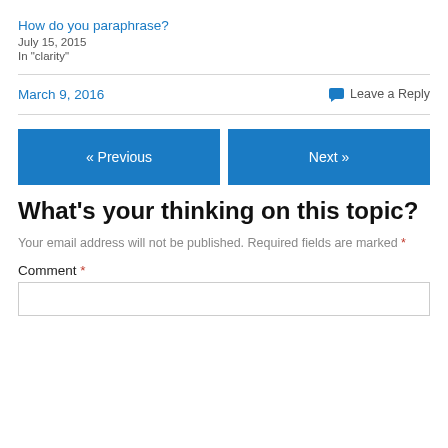How do you paraphrase?
July 15, 2015
In "clarity"
March 9, 2016
💬 Leave a Reply
« Previous
Next »
What's your thinking on this topic?
Your email address will not be published. Required fields are marked *
Comment *